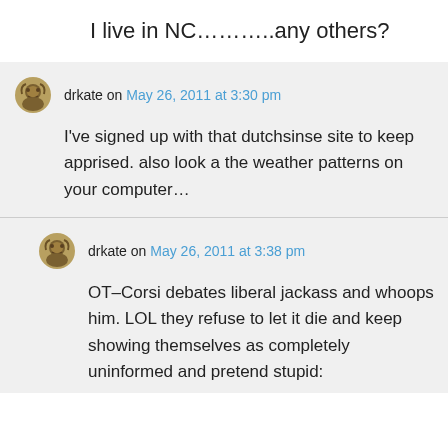I live in NC………..any others?
drkate on May 26, 2011 at 3:30 pm
I've signed up with that dutchsinse site to keep apprised. also look a the weather patterns on your computer…
drkate on May 26, 2011 at 3:38 pm
OT–Corsi debates liberal jackass and whoops him. LOL they refuse to let it die and keep showing themselves as completely uninformed and pretend stupid: